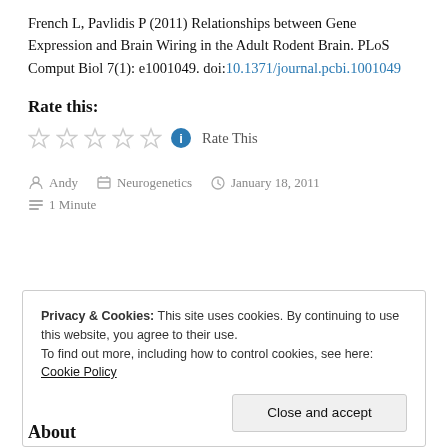French L, Pavlidis P (2011) Relationships between Gene Expression and Brain Wiring in the Adult Rodent Brain. PLoS Comput Biol 7(1): e1001049. doi:10.1371/journal.pcbi.1001049
Rate this:
☆☆☆☆☆ ℹ Rate This
Andy  Neurogenetics  January 18, 2011  1 Minute
Privacy & Cookies: This site uses cookies. By continuing to use this website, you agree to their use. To find out more, including how to control cookies, see here: Cookie Policy
Close and accept
About